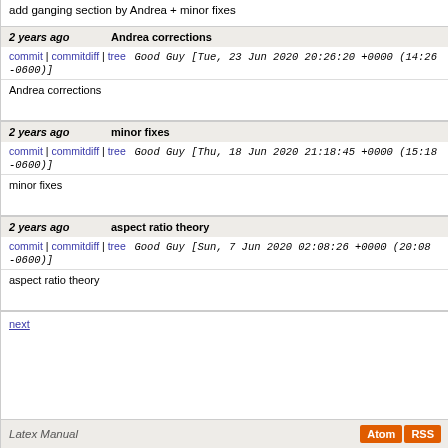add ganging section by Andrea + minor fixes
2 years ago  Andrea corrections
commit | commitdiff | tree   Good Guy [Tue, 23 Jun 2020 20:26:20 +0000 (14:26 -0600)]
Andrea corrections
2 years ago  minor fixes
commit | commitdiff | tree   Good Guy [Thu, 18 Jun 2020 21:18:45 +0000 (15:18 -0600)]
minor fixes
2 years ago  aspect ratio theory
commit | commitdiff | tree   Good Guy [Sun, 7 Jun 2020 02:08:26 +0000 (20:08 -0600)]
aspect ratio theory
next
Latex Manual  Atom  RSS